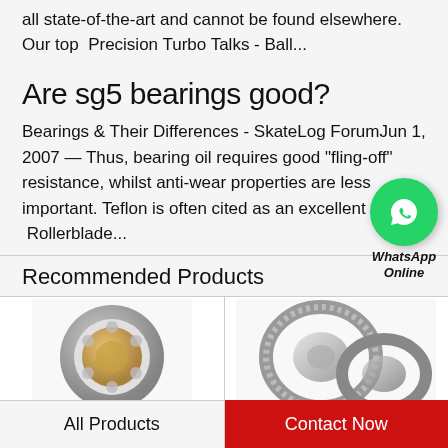all state-of-the-art and cannot be found elsewhere. Our top  Precision Turbo Talks - Ball...
Are sg5 bearings good?
Bearings & Their Differences - SkateLog ForumJun 1, 2007 — Thus, bearing oil requires good "fling-off" resistance, whilst anti-wear properties are less important. Teflon is often cited as an excellent fling-off  Rollerblade...
Recommended Products
[Figure (photo): Photo of a spherical roller bearing, gold/silver tones, viewed from slight angle]
[Figure (photo): Photo of tapered roller bearings, silver/grey tones, two pieces shown]
[Figure (logo): WhatsApp green circle icon with phone handset, labeled WhatsApp Online]